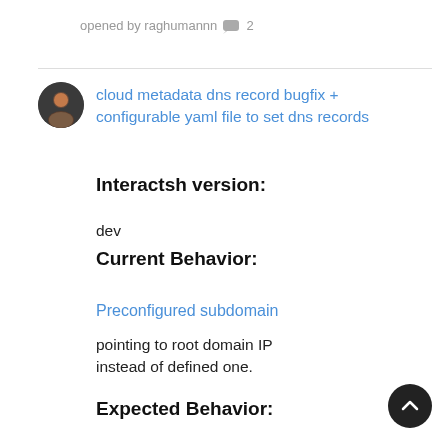opened by raghumannn 💬 2
[Figure (other): User avatar – dark circular profile photo]
cloud metadata dns record bugfix + configurable yaml file to set dns records
Interactsh version:
dev
Current Behavior:
Preconfigured subdomain pointing to root domain IP instead of defined one.
Expected Behavior:
dns records pointing to configured records.